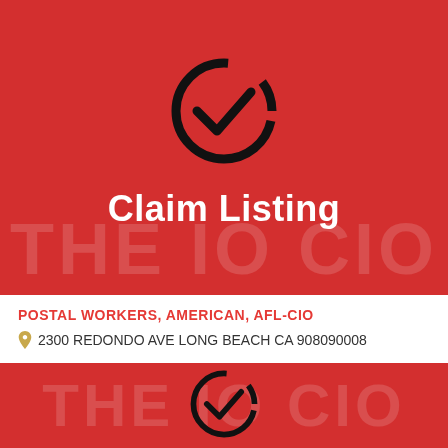[Figure (screenshot): Red banner with a large black checkmark circle icon and white bold 'Claim Listing' text centered, with faint watermark text in background]
POSTAL WORKERS, AMERICAN, AFL-CIO
2300 REDONDO AVE LONG BEACH CA 908090008
[Figure (screenshot): Partial red banner at bottom with faint watermark text and top of checkmark circle icon visible]